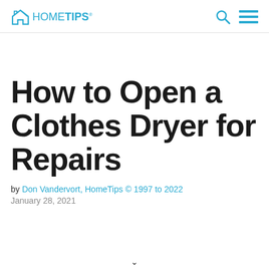HomeTips
How to Open a Clothes Dryer for Repairs
by Don Vandervort, HomeTips © 1997 to 2022
January 28, 2021